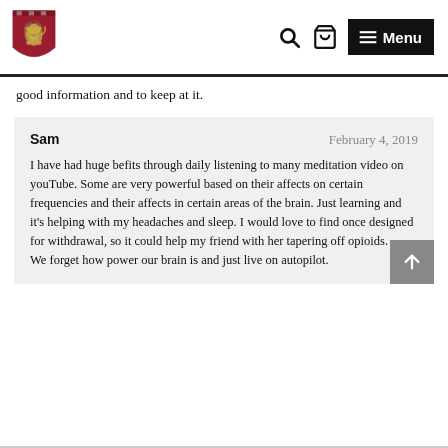Harvard Health Publishing — Search, Cart, Menu navigation
good information and to keep at it.
Sam
February 4, 2019
I have had huge befits through daily listening to many meditation video on youTube. Some are very powerful based on their affects on certain frequencies and their affects in certain areas of the brain. Just learning and it's helping with my headaches and sleep. I would love to find once designed for withdrawal, so it could help my friend with her tapering off opioids.
We forget how power our brain is and just live on autopilot.